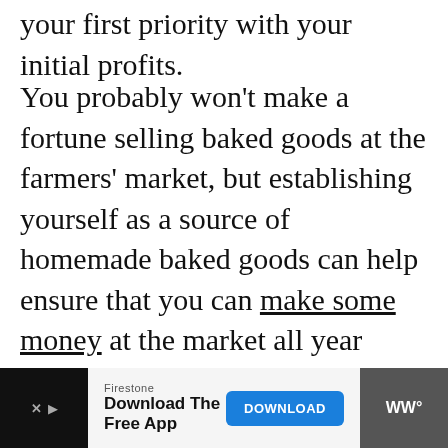your first priority with your initial profits.
You probably won't make a fortune selling baked goods at the farmers' market, but establishing yourself as a source of homemade baked goods can help ensure that you can make some money at the market all year round.
[Figure (other): Advertisement banner at bottom: Firestone 'Download The Free App' with a blue DOWNLOAD button and app icon on dark background]